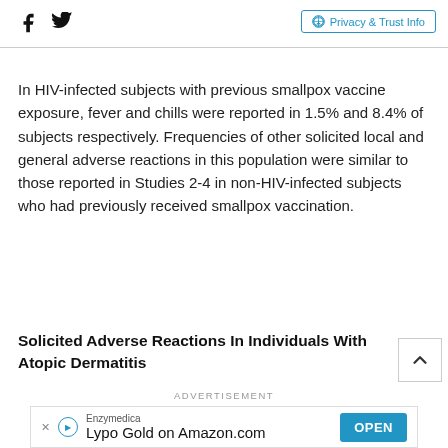Social icons (Facebook, Twitter) | Privacy & Trust Info
In HIV-infected subjects with previous smallpox vaccine exposure, fever and chills were reported in 1.5% and 8.4% of subjects respectively. Frequencies of other solicited local and general adverse reactions in this population were similar to those reported in Studies 2-4 in non-HIV-infected subjects who had previously received smallpox vaccination.
Solicited Adverse Reactions In Individuals With Atopic Dermatitis
ADVERTISEMENT
[Figure (other): Advertisement banner for Enzymedica Lypo Gold on Amazon.com with an OPEN button]